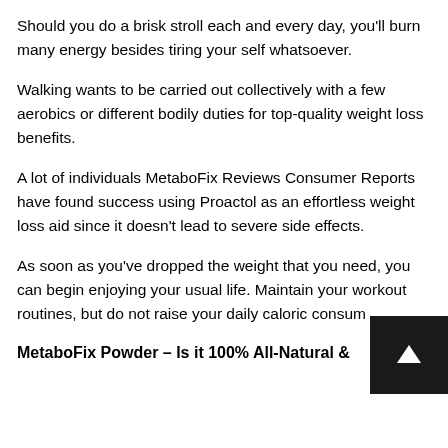Should you do a brisk stroll each and every day, you'll burn many energy besides tiring your self whatsoever.
Walking wants to be carried out collectively with a few aerobics or different bodily duties for top-quality weight loss benefits.
A lot of individuals MetaboFix Reviews Consumer Reports have found success using Proactol as an effortless weight loss aid since it doesn't lead to severe side effects.
As soon as you've dropped the weight that you need, you can begin enjoying your usual life. Maintain your workout routines, but do not raise your daily caloric consum…
MetaboFix Powder – Is it 100% All-Natural &